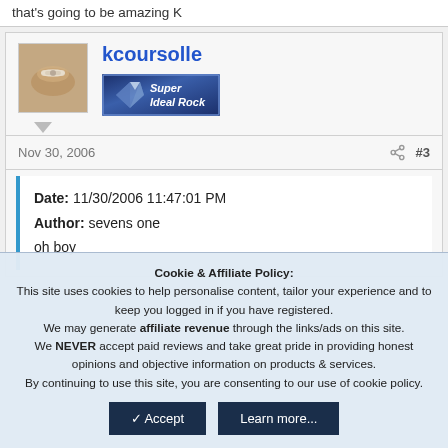that's going to be amazing K
kcoursolle
[Figure (logo): Super Ideal Rock badge/logo — dark blue background with diamond graphic and text 'Super Ideal Rock' in white italic]
Nov 30, 2006  #3
Date: 11/30/2006 11:47:01 PM
Author: sevens one
oh boy
Cookie & Affiliate Policy: This site uses cookies to help personalise content, tailor your experience and to keep you logged in if you have registered. We may generate affiliate revenue through the links/ads on this site. We NEVER accept paid reviews and take great pride in providing honest opinions and objective information on products & services. By continuing to use this site, you are consenting to our use of cookie policy.